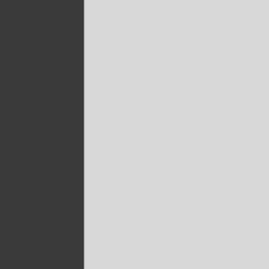As swaps begin trading on Se... platforms.
Rick McVey, chief executive o... he adds. "By the e...
Mr Olesky says, based on the... than several Sefs across differ...
Tradeweb, which has been fac... is looking to provide investors... anonymous order books, to a n...
"We are not picking a particula... ourselves for a number of outc... market."
Mr Cawley said: "Sef volumes... use voice or trade electronicall...
US ECONOMIC REPORTS & A...
CENTRAL BANKING MONETA...
Market Analytics
TECHNICALS & MARKET ANA...